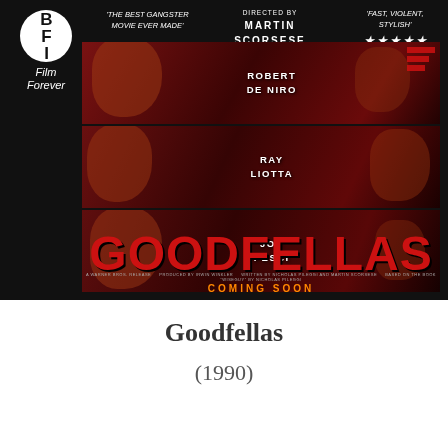[Figure (illustration): Goodfellas (1990) movie poster displayed by BFI Film Forever. Features three horizontal film strip panels showing actors Robert De Niro, Ray Liotta, and Joe Pesci against dark red backgrounds. Large GOODFELLAS title in red at bottom. Quotes: 'The best gangster movie ever made' and 'Fast, Violent, Stylish' with 5 stars. Directed by Martin Scorsese. BFI Film Forever logo top left. Coming Soon text in orange.]
Goodfellas
(1990)